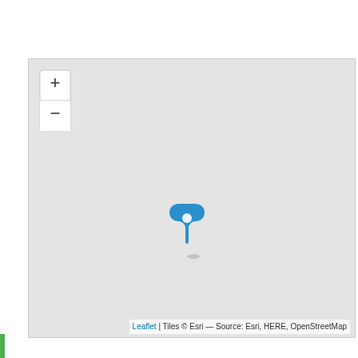[Figure (map): A Leaflet/Esri web map showing a blank light-gray tile layer with a single blue map pin/marker in the center of the map. Zoom in (+) and zoom out (−) controls are in the upper-left corner. Attribution reads: Leaflet | Tiles © Esri — Source: Esri, HERE, OpenStreetMap]